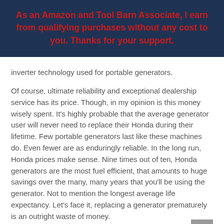As an Amazon and Tool Barn Associate, I earn from qualifying purchases without any cost to you. Thanks for your support.
inverter technology used for portable generators.
Of course, ultimate reliability and exceptional dealership service has its price. Though, in my opinion is this money wisely spent. It's highly probable that the average generator user will never need to replace their Honda during their lifetime. Few portable generators last like these machines do. Even fewer are as enduringly reliable. In the long run, Honda prices make sense. Nine times out of ten, Honda generators are the most fuel efficient, that amounts to huge savings over the many, many years that you'll be using the generator. Not to mention the longest average life expectancy. Let's face it, replacing a generator prematurely is an outright waste of money.
Proof of Honda's commitment to outstanding quality comes in the form of a 3-year warranty which applies to both domestic and commercial users. How many...